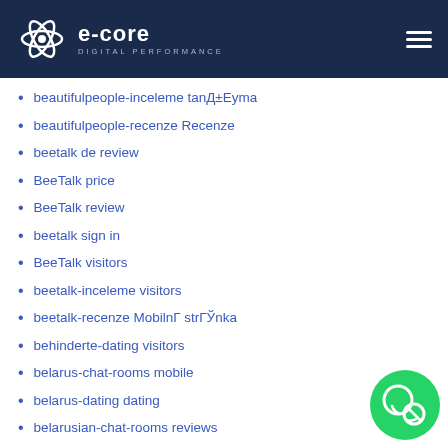[Figure (logo): e-core Digital Performance logo with atom icon on dark navy header, with hamburger menu icon on right]
beautifulpeople-inceleme tanД±Еуma
beautifulpeople-recenze Recenze
beetalk de review
BeeTalk price
BeeTalk review
beetalk sign in
BeeTalk visitors
beetalk-inceleme visitors
beetalk-recenze MobilnГ strГЎnka
behinderte-dating visitors
belarus-chat-rooms mobile
belarus-dating dating
belarusian-chat-rooms reviews
belarusian-dating sign in
Belfast+United Kingdom hookup
belgium-dating reviews
Belleville+Canada hookup
Belleville+Canada hookup sites
bellevue escort
bellevue escort directory
bellevue escort index